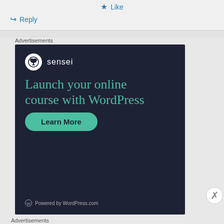Like
Reply
Advertisements
[Figure (advertisement): Sensei advertisement: dark navy background with Sensei logo (bonsai tree icon in white circle), teal text 'Launch your online course with WordPress', green rounded 'Learn More' button, WordPress.com logo at bottom]
Advertisements
[Figure (advertisement): Bloomingdale's advertisement: white background with Bloomingdale's logo in script font, 'View Today's Top Deals!' text, photo of woman in hat, 'SHOP NOW >' button with black border]